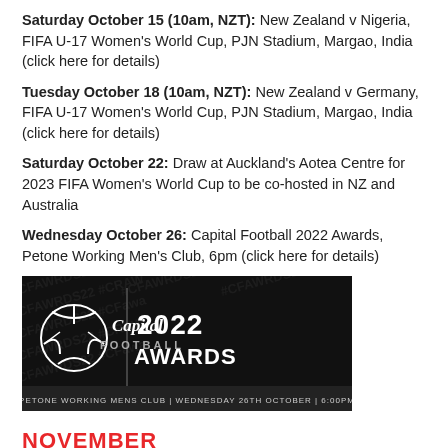Saturday October 15 (10am, NZT): New Zealand v Nigeria, FIFA U-17 Women's World Cup, PJN Stadium, Margao, India (click here for details)
Tuesday October 18 (10am, NZT): New Zealand v Germany, FIFA U-17 Women's World Cup, PJN Stadium, Margao, India (click here for details)
Saturday October 22: Draw at Auckland's Aotea Centre for 2023 FIFA Women's World Cup to be co-hosted in NZ and Australia
Wednesday October 26: Capital Football 2022 Awards, Petone Working Men's Club, 6pm (click here for details)
[Figure (illustration): Capital Football 2022 Awards banner - black background with watermark text pattern, football logo, 'Capital FOOTBALL | 2022 AWARDS', and text 'PETONE WORKING MENS CLUB | WEDNESDAY 26TH OCTOBER | 6:00PM']
NOVEMBER
November 4-6: Melville United's 50th year anniversary